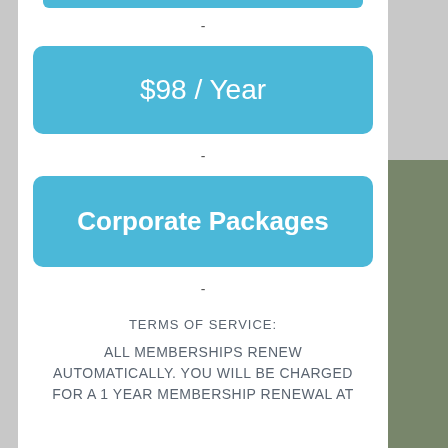[Figure (other): Blue rounded button showing '$98 / Year' membership price option]
-
[Figure (other): Blue rounded button showing 'Corporate Packages' membership option]
-
TERMS OF SERVICE:
ALL MEMBERSHIPS RENEW AUTOMATICALLY. YOU WILL BE CHARGED FOR A 1 YEAR MEMBERSHIP RENEWAL AT